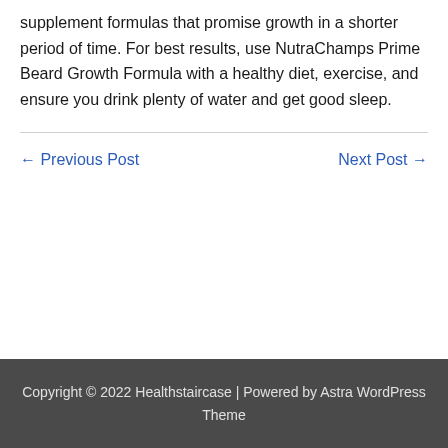supplement formulas that promise growth in a shorter period of time. For best results, use NutraChamps Prime Beard Growth Formula with a healthy diet, exercise, and ensure you drink plenty of water and get good sleep.
← Previous Post   Next Post →
Copyright © 2022 Healthstaircase | Powered by Astra WordPress Theme